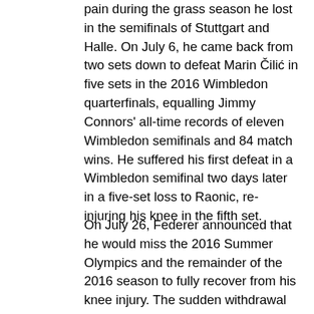pain during the grass season he lost in the semifinals of Stuttgart and Halle. On July 6, he came back from two sets down to defeat Marin Čilić in five sets in the 2016 Wimbledon quarterfinals, equalling Jimmy Connors' all-time records of eleven Wimbledon semifinals and 84 match wins. He suffered his first defeat in a Wimbledon semifinal two days later in a five-set loss to Raonic, re-injuring his knee in the fifth set.
On July 26, Federer announced that he would miss the 2016 Summer Olympics and the remainder of the 2016 season to fully recover from his knee injury. The sudden withdrawal not only implied that 2016 was his first season since 2000 that Federer failed to win a title, but it also